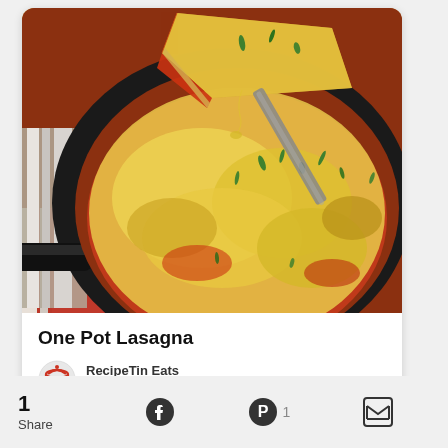[Figure (photo): A cast iron skillet with cheesy beef lasagna, a slice being lifted showing melted golden cheese and herbs on top, placed on a red and white striped cloth]
One Pot Lasagna
RecipeTin Eats
How to make a beef lasagna in one pan that has...
1 Share
Facebook icon, Pinterest icon with count 1, Email icon